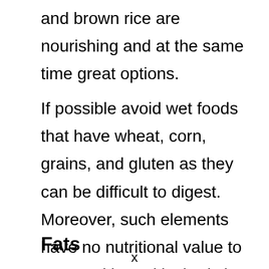and brown rice are nourishing and at the same time great options.
If possible avoid wet foods that have wheat, corn, grains, and gluten as they can be difficult to digest. Moreover, such elements have no nutritional value to your Yorkie and its body is not used to handling these grains.
Fats
x